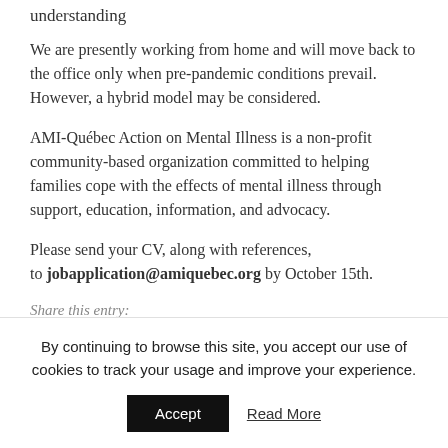understanding
We are presently working from home and will move back to the office only when pre-pandemic conditions prevail. However, a hybrid model may be considered.
AMI-Québec Action on Mental Illness is a non-profit community-based organization committed to helping families cope with the effects of mental illness through support, education, information, and advocacy.
Please send your CV, along with references, to jobapplication@amiquebec.org by October 15th.
Share this entry:
By continuing to browse this site, you accept our use of cookies to track your usage and improve your experience.